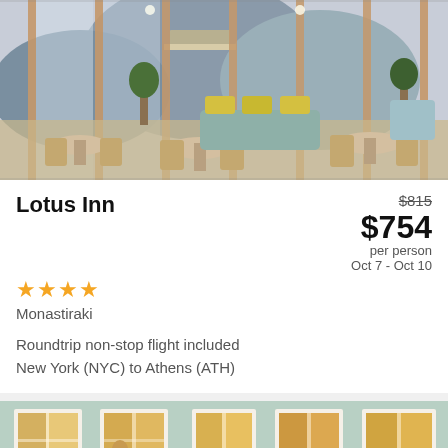[Figure (photo): Hotel rooftop terrace restaurant with wooden furniture, yellow cushions, views of Athens hills and Acropolis through large glass panels]
Lotus Inn
$815 (strikethrough), $754 per person, Oct 7 - Oct 10
★★★★ Monastiraki
Roundtrip non-stop flight included
New York (NYC) to Athens (ATH)
[Figure (photo): Light green hotel building facade with multiple rows of illuminated windows with wooden frames at night]